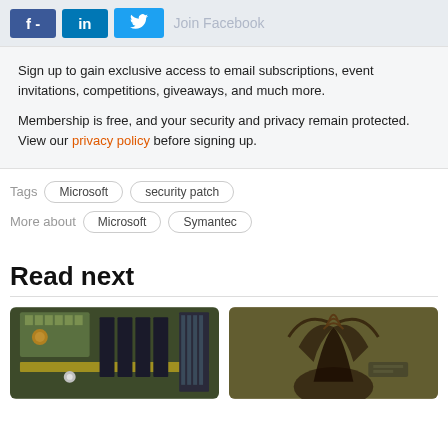[Figure (screenshot): Social share buttons: Facebook (f -), LinkedIn (in), Twitter (bird icon), and faded 'Join Facebook' text on a light blue-grey bar]
Sign up to gain exclusive access to email subscriptions, event invitations, competitions, giveaways, and much more.
Membership is free, and your security and privacy remain protected. View our privacy policy before signing up.
Tags: Microsoft  security patch
More about: Microsoft  Symantec
Read next
[Figure (photo): Close-up photo of a computer motherboard with green PCB, capacitors, and expansion slots]
[Figure (illustration): Fantasy illustration of a dark winged creature or demon with flowing hair against a muted green-brown background]